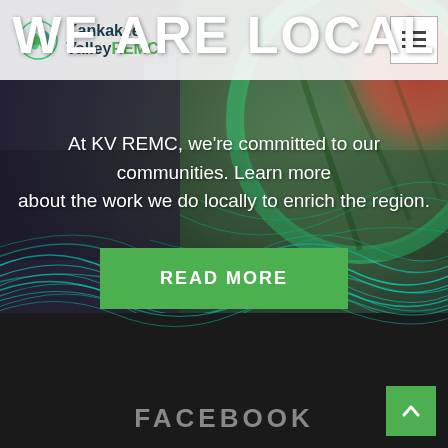[Figure (screenshot): Kankakee Valley REMC website screenshot showing hero section with watermelon background image, teal wave graphics, logo, navigation, headline WE ARE LOCAL, body text about community commitment, a green READ MORE button, dark footer with FACEBOOK label, and green back-to-top button.]
Kankakee Valley REMC
WE ARE LOCAL
At KV REMC, we're committed to our communities. Learn more about the work we do locally to enrich the region.
READ MORE
FACEBOOK